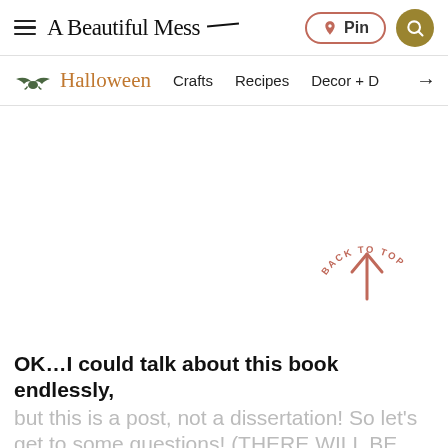A Beautiful Mess — Pin | Search
Halloween | Crafts | Recipes | Decor + D →
[Figure (other): Empty content area with back-to-top button (curved text BACK TO TOP with an upward arrow in salmon/coral color)]
OK…I could talk about this book endlessly, but this is a post, not a dissertation! So let's get to some questions! (THERE WILL BE